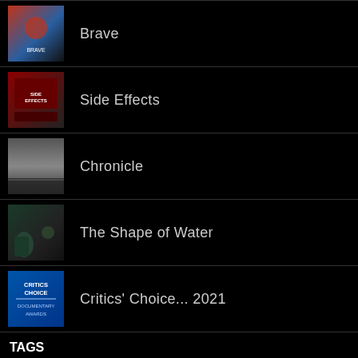Brave
Side Effects
Chronicle
The Shape of Water
Critics' Choice... 2021
TAGS
2001: A Space Odyssey  1968 movie  Academy Awards  adoption
Alfred Hitchcock  Allegory of the Cave  Andrés Muschietti  Anne Hathaway
BAFTA Nominations 2022